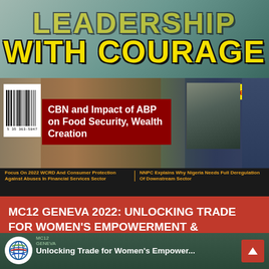LEADERSHIP WITH COURAGE
[Figure (photo): Magazine cover showing CBN and Impact of ABP on Food Security, Wealth Creation with barcode, Special Report badge, and man in suit photo]
Focus On 2022 WCRD And Consumer Protection Against Abuses In Financial Services Sector
NNPC Explains Why Nigeria Needs Full Deregulation Of Downstream Sector
MC12 GENEVA 2022: UNLOCKING TRADE FOR WOMEN'S EMPOWERMENT & SUSTAINABLE DEVELOPMENT, BY WTO
[Figure (screenshot): WTO MC12 Geneva 2022 video thumbnail showing Unlocking Trade for Women's Empowerment with WTO logo, people group photo, and red arrow up button]